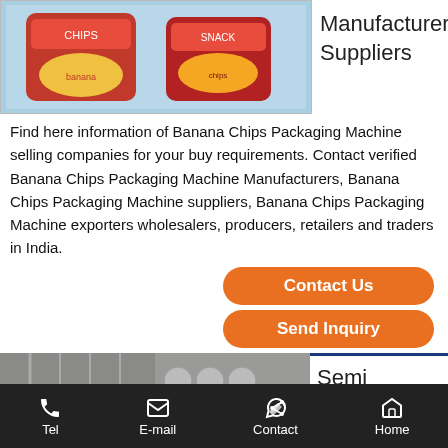[Figure (photo): Two packets of banana chips / snack products against a light blue background]
Manufacturers, Suppliers
Find here information of Banana Chips Packaging Machine selling companies for your buy requirements. Contact verified Banana Chips Packaging Machine Manufacturers, Banana Chips Packaging Machine suppliers, Banana Chips Packaging Machine exporters wholesalers, producers, retailers and traders in India.
Contact Us
Send Inquiry
[Figure (photo): Industrial semi-automatic banana chips plant with pumps and machinery against a rack background]
Semi Automatic Banana Chips Plant|Mini
Tel   E-mail   Contact   Home